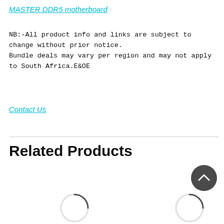MASTER DDR5 motherboard
NB:-All product info and links are subject to change without prior notice.
Bundle deals may vary per region and may not apply to South Africa.E&OE
Contact Us
Related Products
[Figure (other): Scroll-to-top circular button with upward chevron arrow, dark grey background]
[Figure (other): Loading spinner circle, partially drawn arc, dark grey, left side]
[Figure (other): Loading spinner circle, partially drawn arc, dark grey, right side]